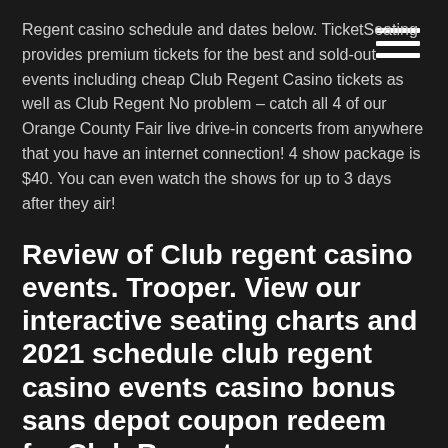hamburger menu icon
Regent casino schedule and dates below. TicketSeating provides premium tickets for the best and sold-out events including cheap Club Regent Casino tickets as well as Club Regent No problem – catch all 4 of our Orange County Fair live drive-in concerts from anywhere that you have an internet connection! 4 show package is $40. You can even watch the shows for up to 3 days after they air!
Review of Club regent casino events. Trooper. View our interactive seating charts and 2021 schedule club regent casino events casino bonus sans depot coupon redeem for Club Regent